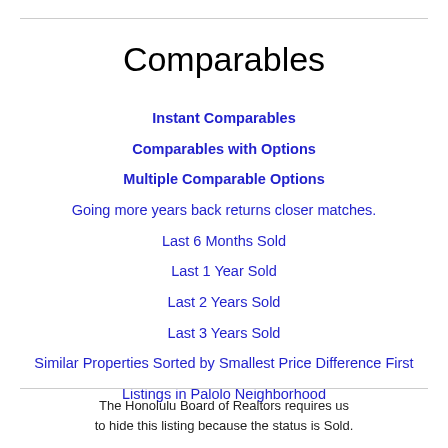Comparables
Instant Comparables
Comparables with Options
Multiple Comparable Options
Going more years back returns closer matches.
Last 6 Months Sold
Last 1 Year Sold
Last 2 Years Sold
Last 3 Years Sold
Similar Properties Sorted by Smallest Price Difference First
Listings in Palolo Neighborhood
The Honolulu Board of Realtors requires us to hide this listing because the status is Sold.